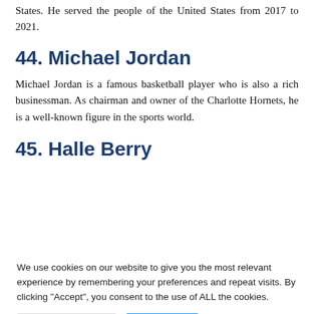States. He served the people of the United States from 2017 to 2021.
44. Michael Jordan
Michael Jordan is a famous basketball player who is also a rich businessman. As chairman and owner of the Charlotte Hornets, he is a well-known figure in the sports world.
45. Halle Berry
We use cookies on our website to give you the most relevant experience by remembering your preferences and repeat visits. By clicking “Accept”, you consent to the use of ALL the cookies.